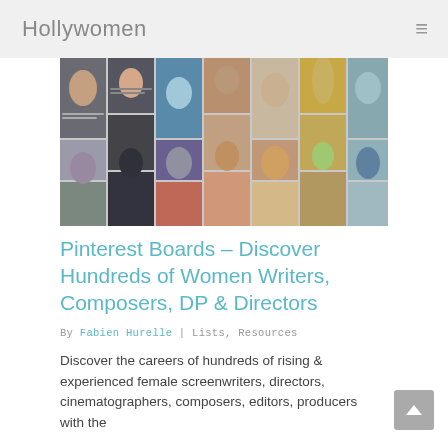Hollywomen
[Figure (screenshot): Pinterest board screenshot showing a collage of women filmmakers, directors, writers, and composers with their profile photos and pin descriptions arranged in a masonry grid layout]
Pinterest Boards – Discover Hundreds of Women Writers, Composers, DP & Directors
By Fabien Hurelle | Lists, Resources
Discover the careers of hundreds of rising & experienced female screenwriters, directors, cinematographers, composers, editors, producers with the